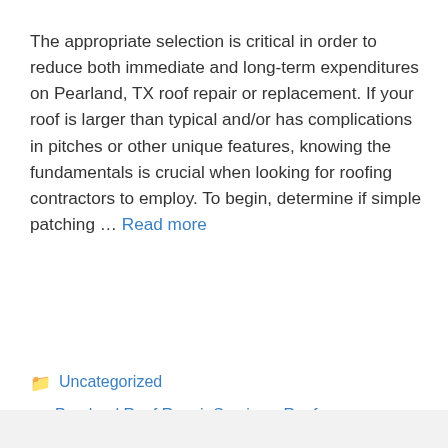The appropriate selection is critical in order to reduce both immediate and long-term expenditures on Pearland, TX roof repair or replacement. If your roof is larger than typical and/or has complications in pitches or other unique features, knowing the fundamentals is crucial when looking for roofing contractors to employ. To begin, determine if simple patching … Read more
Uncategorized
Pearland Roof Repair Services, Roof Repair, Roof Replacement